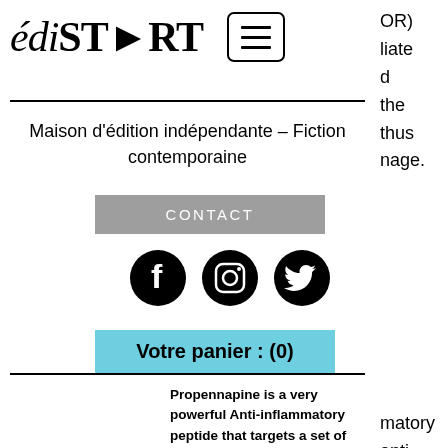[Figure (logo): édiSTART logo with menu/hamburger button icon]
OR) liate d the thus nage.
Maison d'édition indépendante – Fiction contemporaine
CONTACT
[Figure (other): Social media icons: Facebook, Instagram, Twitter]
matory anti- itic
Votre panier : (0)
Propennapine is a very powerful Anti-inflammatory peptide that targets a set of proteins called "mammalian target of rapamycin" (mTOR) activators (the same proteins that mediate muscle mass, glucose metabolism and insulin secretion) in order to suppress the production of inflammatory...